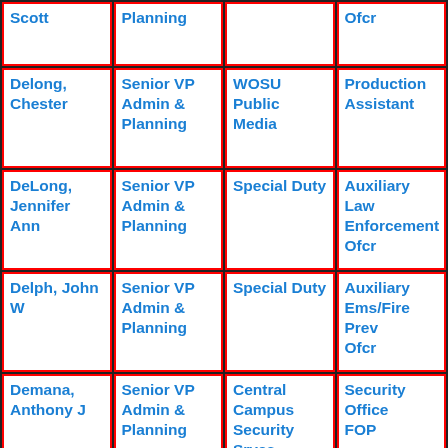| Name | Division | Department | Title |
| --- | --- | --- | --- |
| Scott | Planning |  | Ofcr |
| Delong, Chester | Senior VP Admin & Planning | WOSU Public Media | Production Assistant |
| DeLong, Jennifer Ann | Senior VP Admin & Planning | Special Duty | Auxiliary Law Enforcement Ofcr |
| Delph, John W | Senior VP Admin & Planning | Special Duty | Auxiliary Ems/Fire Prev Ofcr |
| Demana, Anthony J | Senior VP Admin & Planning | Central Campus Security Srvcs | Security Office FOP |
| Denner, Mark A | Senior VP Admin & Planning | Special Duty | Auxiliary Law Enforcement Ofcr |